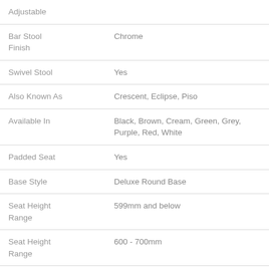| Adjustable |  |
| Bar Stool Finish | Chrome |
| Swivel Stool | Yes |
| Also Known As | Crescent, Eclipse, Piso |
| Available In | Black, Brown, Cream, Green, Grey, Purple, Red, White |
| Padded Seat | Yes |
| Base Style | Deluxe Round Base |
| Seat Height Range | 599mm and below |
| Seat Height Range | 600 - 700mm |
| Seat Height | 701 - 800mm |